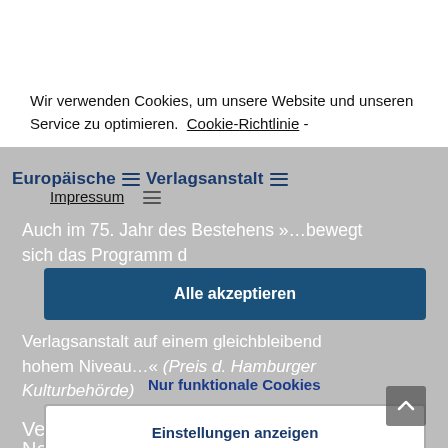Wir verwenden Cookies, um unsere Website und unseren Service zu optimieren. Cookie-Richtlinie - Impressum
Europäische Verlagsanstalt
Auch im 75. Jahr des Bestehens »…bewegt sich das Programm der Europäischen Verlagsanstalt auf einem gleichbleibend hohem Niveau…« (Preis d. Hamburger Kulturbehörde)
Alle akzeptieren
Nur funktionale Cookies
Einstellungen anzeigen
Verlag
Neue Bücher